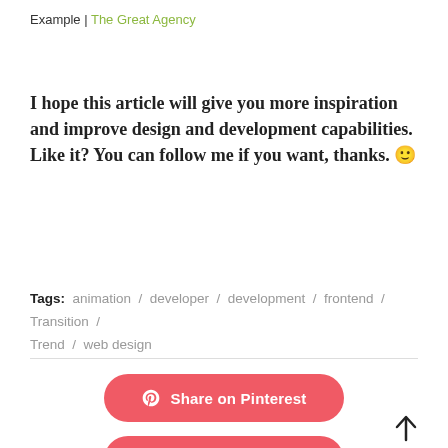Example | The Great Agency
I hope this article will give you more inspiration and improve design and development capabilities. Like it? You can follow me if you want, thanks. 🙂
Tags: animation / developer / development / frontend / Transition / Trend / web design
[Figure (infographic): Share on Pinterest button (red/coral rounded button with Pinterest icon)]
[Figure (infographic): Share on Google+ button (red/coral rounded button with G+ icon) and an up-arrow navigation button]